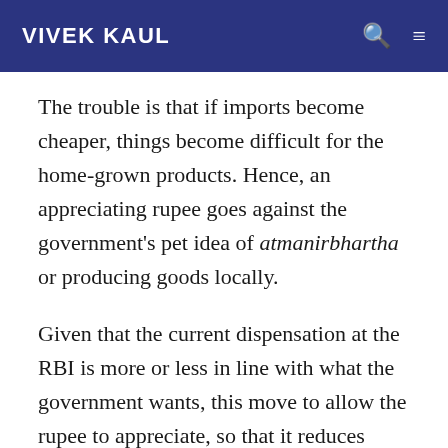VIVEK KAUL
The trouble is that if imports become cheaper, things become difficult for the home-grown products. Hence, an appreciating rupee goes against the government's pet idea of atmanirbhartha or producing goods locally.
Given that the current dispensation at the RBI is more or less in line with what the government wants, this move to allow the rupee to appreciate, so that it reduces imported inflation, is even more surprising. (On a different note, I am all for consumers getting to buy things cheaper than in the past. The point is full...